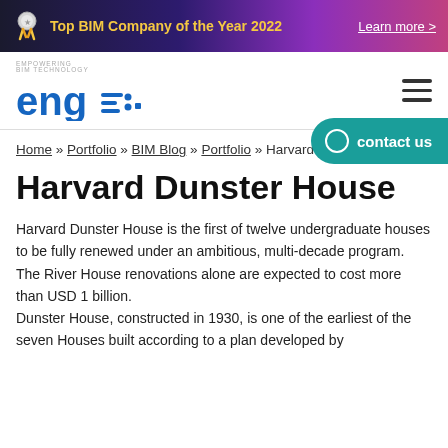Top BIM Company of the Year 2022   Learn more >
[Figure (logo): Engisoft logo with tagline EMPOWERING BIM TECHNOLOGY and hamburger menu icon]
[Figure (other): Contact us button (teal rounded pill)]
Home » Portfolio » BIM Blog » Portfolio » Harvard Dunster House
Harvard Dunster House
Harvard Dunster House is the first of twelve undergraduate houses to be fully renewed under an ambitious, multi-decade program. The River House renovations alone are expected to cost more than USD 1 billion. Dunster House, constructed in 1930, is one of the earliest of the seven Houses built according to a plan developed by